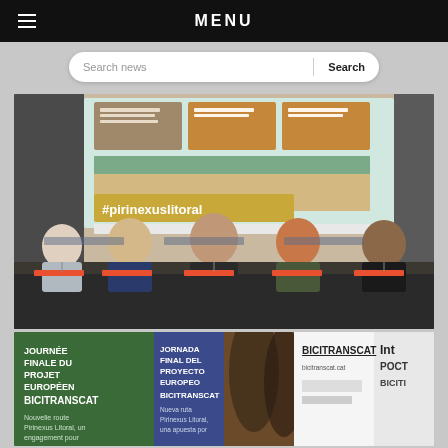MENU
Search news  Search
[Figure (photo): Panel of five people seated at a conference table with a presentation screen behind showing #pirinexuslitoral and event banners for Pirinexus Litoral project]
[Figure (photo): Bottom row of three images: JOURNÉE FINALE DU PROJET EUROPÉEN BICITRANSCAT banner, JORNADA FINAL DEL PROYECTO EUROPEO BICITRANSCAT banner with forest photo, and BICITRANSCAT logo with bicitranscat.cat website]